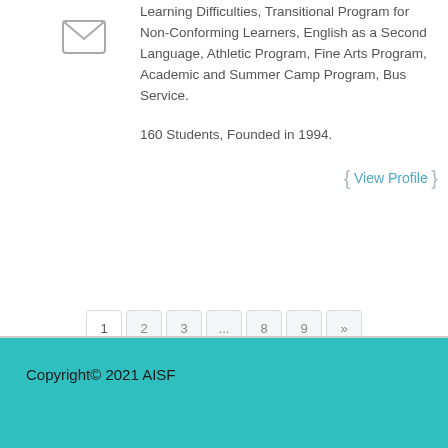[Figure (illustration): Envelope/mail icon]
Learning Difficulties, Transitional Program for Non-Conforming Learners, English as a Second Language, Athletic Program, Fine Arts Program, Academic and Summer Camp Program, Bus Service.
160 Students, Founded in 1994.
{ View Profile }
1
2
3
...
8
9
»
Copyright© 2021 AISF